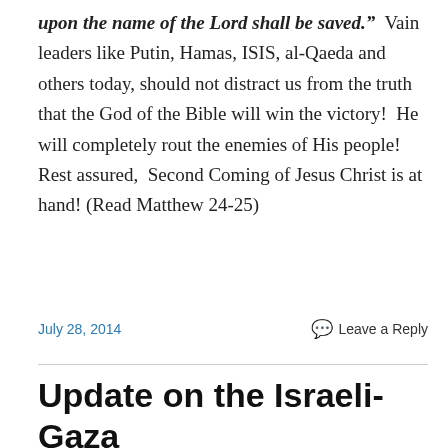upon the name of the Lord shall be saved."  Vain leaders like Putin, Hamas, ISIS, al-Qaeda and others today, should not distract us from the truth that the God of the Bible will win the victory!  He will completely rout the enemies of His people! Rest assured,  Second Coming of Jesus Christ is at hand! (Read Matthew 24-25)
July 28, 2014
Leave a Reply
Update on the Israeli-Gaza War: Hamas Following